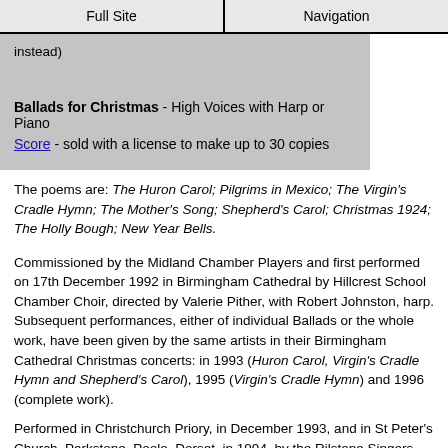Full Site | Navigation
instead)
Ballads for Christmas - High Voices with Harp or Piano
Score - sold with a license to make up to 30 copies
The poems are: The Huron Carol; Pilgrims in Mexico; The Virgin's Cradle Hymn; The Mother's Song; Shepherd's Carol; Christmas 1924; The Holly Bough; New Year Bells.
Commissioned by the Midland Chamber Players and first performed on 17th December 1992 in Birmingham Cathedral by Hillcrest School Chamber Choir, directed by Valerie Pither, with Robert Johnston, harp. Subsequent performances, either of individual Ballads or the whole work, have been given by the same artists in their Birmingham Cathedral Christmas concerts: in 1993 (Huron Carol, Virgin's Cradle Hymn and Shepherd's Carol), 1995 (Virgin's Cradle Hymn) and 1996 (complete work).
Performed in Christchurch Priory, in December 1993, and in St Peter's Church, Parkstone, Poole, Dorset, in 1994, by the Rilstone Singers, conducted by Martin Schellenberg, with harpists Susan Drake (1993) and